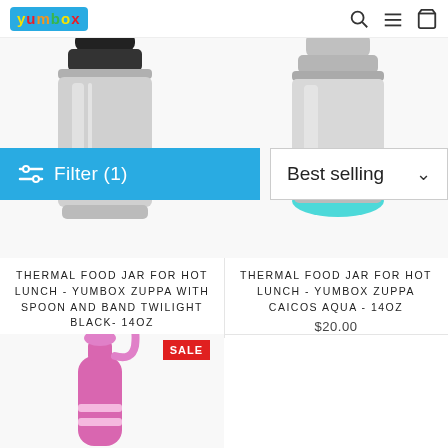yumbox
[Figure (screenshot): Yumbox e-commerce product listing page showing thermal food jars and a pink water bottle with filter and sort controls]
Filter (1)
Best selling
THERMAL FOOD JAR FOR HOT LUNCH - YUMBOX ZUPPA WITH SPOON AND BAND TWILIGHT BLACK- 14OZ
$23.00
THERMAL FOOD JAR FOR HOT LUNCH - YUMBOX ZUPPA CAICOS AQUA - 14OZ
$20.00
SALE